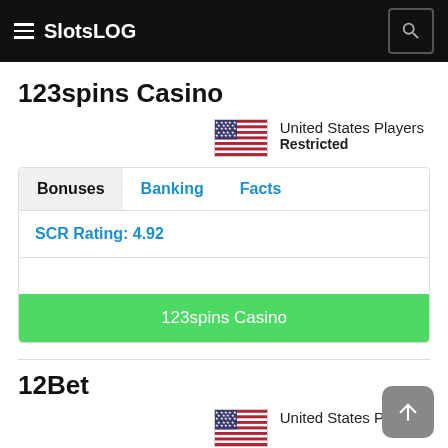SlotsLOG
123spins Casino
United States Players
Restricted
Bonuses | Banking | Facts
SCR Rating: 4.92
123spins Casino
12Bet
United States Players